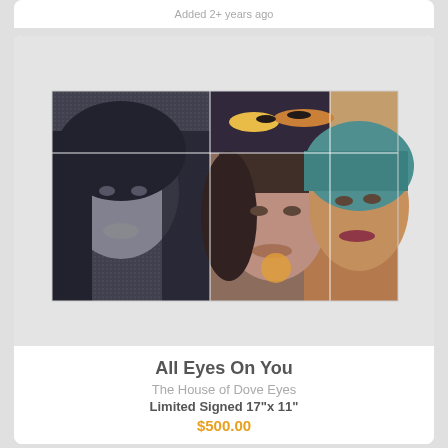Added 2+ years ago
[Figure (photo): Artwork titled 'All Eyes On You' showing a collage of three women's faces with artistic textures and patterns. The image is displayed in a card layout with a light gray background above and below the photo.]
All Eyes On You
The House of Dove Eyes
Limited Signed 17"x 11"
$500.00